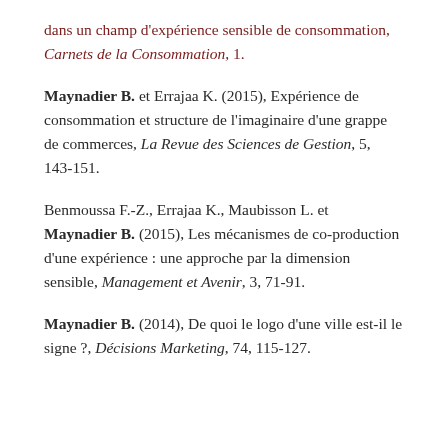dans un champ d'expérience sensible de consommation, Carnets de la Consommation, 1.
Maynadier B. et Errajaa K. (2015), Expérience de consommation et structure de l'imaginaire d'une grappe de commerces, La Revue des Sciences de Gestion, 5, 143-151.
Benmoussa F.-Z., Errajaa K., Maubisson L. et Maynadier B. (2015), Les mécanismes de co-production d'une expérience : une approche par la dimension sensible, Management et Avenir, 3, 71-91.
Maynadier B. (2014), De quoi le logo d'une ville est-il le signe ?, Décisions Marketing, 74, 115-127.